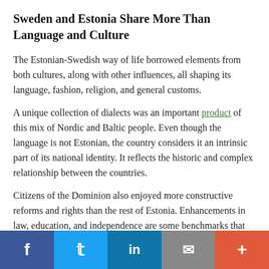Sweden and Estonia Share More Than Language and Culture
The Estonian-Swedish way of life borrowed elements from both cultures, along with other influences, all shaping its language, fashion, religion, and general customs.
A unique collection of dialects was an important product of this mix of Nordic and Baltic people. Even though the language is not Estonian, the country considers it an intrinsic part of its national identity. It reflects the historic and complex relationship between the countries.
Citizens of the Dominion also enjoyed more constructive reforms and rights than the rest of Estonia. Enhancements in law, education, and independence are some benchmarks that defined the era. Some in the
f  in  [mail]  +